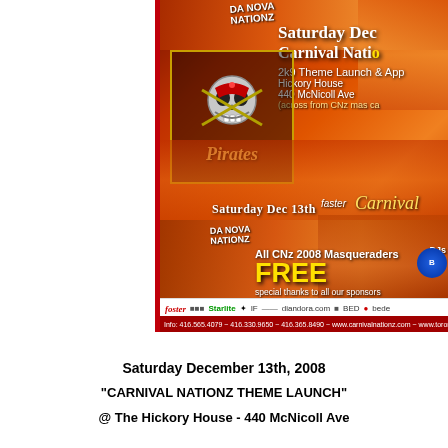[Figure (illustration): Carnival Nationz event flyer for Saturday December 13th, 2008. Features Pirates theme, with carnival dancers, pirate skull logo, event details including '2k9 Theme Launch & App', Hickory House venue at 440 McNicoll Ave, 'All CNz 2008 Masqueraders FREE', sponsor logos, and info bar with phone numbers and websites.]
Saturday December 13th, 2008
"CARNIVAL NATIONZ THEME LAUNCH"
@ The Hickory House - 440 McNicoll Ave